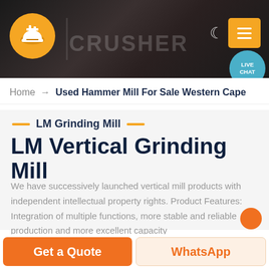[Figure (photo): Dark industrial background with crusher machinery and mining equipment. Company logo (orange circle with industrial icon) on top left. Moon/night mode icon and orange hamburger menu button on top right.]
LIVE CHAT
Home → Used Hammer Mill For Sale Western Cape
LM Grinding Mill
LM Vertical Grinding Mill
We have successively launched vertical mill products with independent intellectual property rights. Product Features: Integration of multiple functions, more stable and reliable production and more excellent capacity
Get a Quote
WhatsApp